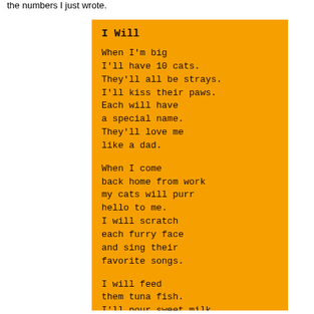the numbers I just wrote.
I Will
When I'm big
I'll have 10 cats.
They'll all be strays.
I'll kiss their paws.
Each will have
a special name.
They'll love me
like a dad.
When I come
back home from work
my cats will purr
hello to me.
I will scratch
each furry face
and sing their
favorite songs.
I will feed
them tuna fish.
I'll pour sweet milk
into a dish
I've painted with
bright smiling birds.